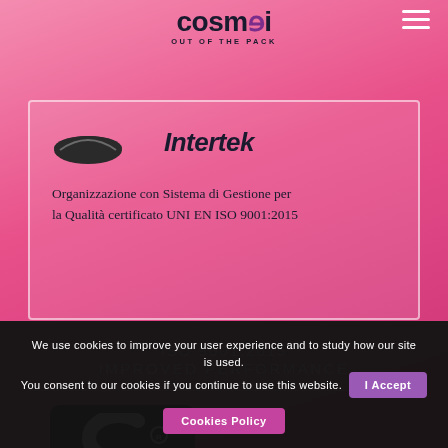[Figure (logo): Cosmei 'OUT OF THE PACK' logo with stylized text and purple accent, plus hamburger menu icon]
[Figure (illustration): Certificate card with Vein and Intertek logos, showing ISO certification text in Italian]
Organizzazione con Sistema di Gestione per la Qualità certificato UNI EN ISO 9001:2015
ISO 9001:2015
IMPROVED PERFORMANCE
[Figure (illustration): Partial card with dark rounded rectangle containing arc/registered trademark symbol]
We use cookies to improve your user experience and to study how our site is used.
You consent to our cookies if you continue to use this website.